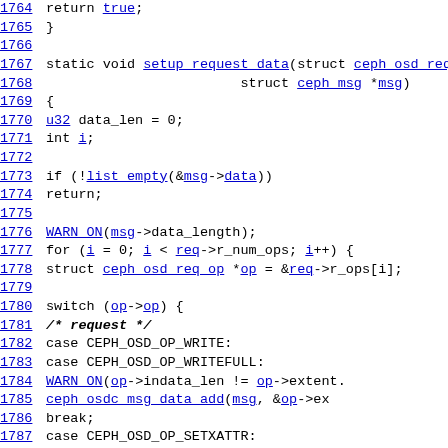Source code listing, lines 1764-1789, C kernel code for setup_request_data function